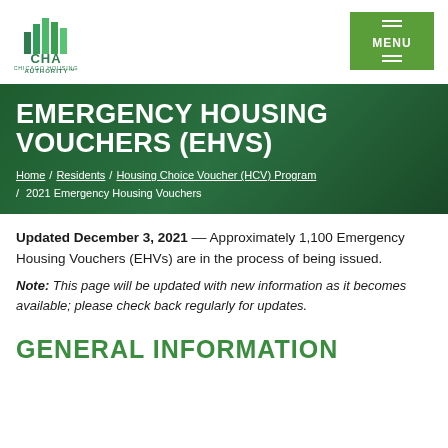[Figure (logo): Chicago Housing Authority (CHA) logo with green bar chart icon and text 'CHICAGO HOUSING AUTHORITY']
[Figure (other): Green MENU button with hamburger icon lines]
EMERGENCY HOUSING VOUCHERS (EHVS)
Home / Residents / Housing Choice Voucher (HCV) Program / 2021 Emergency Housing Vouchers
Updated December 3, 2021 –– Approximately 1,100 Emergency Housing Vouchers (EHVs) are in the process of being issued.
Note: This page will be updated with new information as it becomes available; please check back regularly for updates.
GENERAL INFORMATION